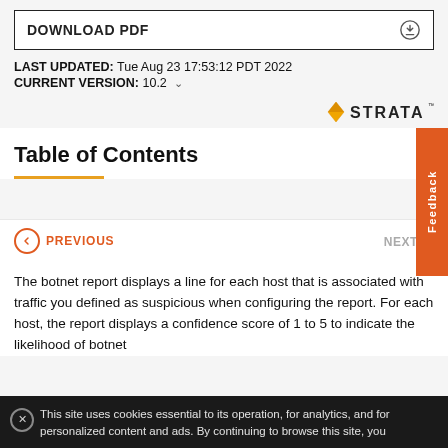DOWNLOAD PDF
LAST UPDATED: Tue Aug 23 17:53:12 PDT 2022
CURRENT VERSION: 10.2
[Figure (logo): Strata logo with orange diamond icon and STRATA wordmark]
Table of Contents
PREVIOUS   NEXT
The botnet report displays a line for each host that is associated with traffic you defined as suspicious when configuring the report. For each host, the report displays a confidence score of 1 to 5 to indicate the likelihood of botnet
This site uses cookies essential to its operation, for analytics, and for personalized content and ads. By continuing to browse this site, you